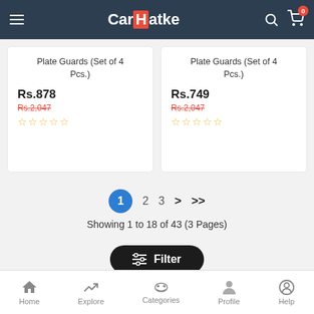CarHatke
Plate Guards (Set of 4 Pcs.) Rs.878 Rs.2,047
Plate Guards (Set of 4 Pcs.) Rs.749 Rs.2,047
Showing 1 to 18 of 43 (3 Pages)
Home  Explore  Categories  Profile  Help